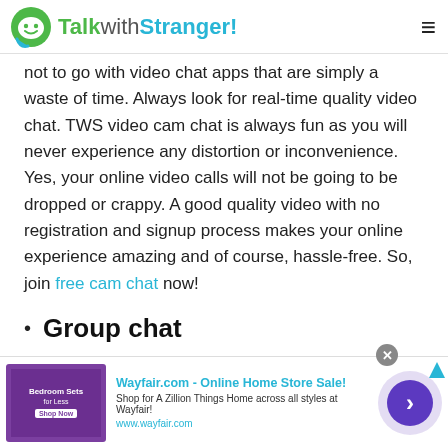TalkwithStranger!
not to go with video chat apps that are simply a waste of time. Always look for real-time quality video chat. TWS video cam chat is always fun as you will never experience any distortion or inconvenience. Yes, your online video calls will not be going to be dropped or crappy. A good quality video with no registration and signup process makes your online experience amazing and of course, hassle-free. So, join free cam chat now!
Group chat
[Figure (screenshot): Wayfair.com advertisement banner with bedroom image, ad title 'Wayfair.com - Online Home Store Sale!', subtitle 'Shop for A Zillion Things Home across all styles at Wayfair!', URL 'www.wayfair.com', and a purple circular arrow button]